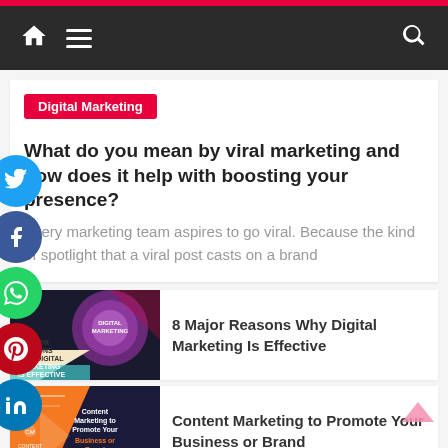Digital Marketing blog – navigation bar with home, menu, and search icons
Digital Marketing
What do you mean by viral marketing and how does it help with boosting your presence?
Every marketing team aspires to go viral. Because the kind of spotlight that a viral post casts on a brand
[Figure (screenshot): Thumbnail image for article: 8 Major Reasons Why Digital Marketing Is Effective — purple/pink digital marketing graphic]
8 Major Reasons Why Digital Marketing Is Effective
[Figure (screenshot): Thumbnail image for article: Content Marketing to Promote Your Business or Brand — orange and dark blue graphic]
Content Marketing to Promote Your Business or Brand